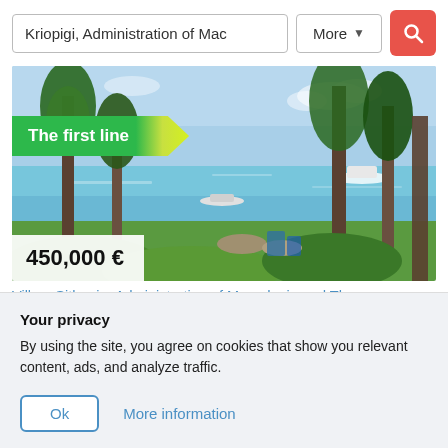Kriopigi, Administration of Mac
[Figure (screenshot): Coastal property photo showing blue sea water, trees, a boat, and green vegetation in the foreground. A green banner reads 'The first line' and a white price overlay shows '450,000 €'.]
Villa – Sithonia, Administration of Macedonia and Thrace
Your privacy
By using the site, you agree on cookies that show you relevant content, ads, and analyze traffic.
Ok
More information